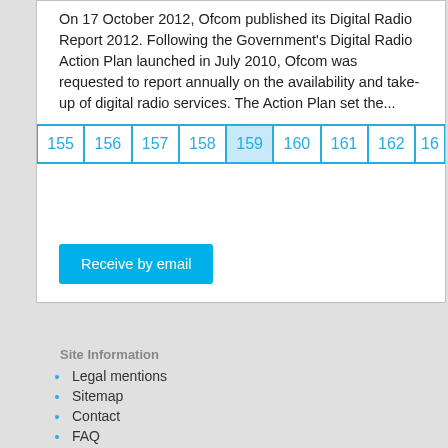On 17 October 2012, Ofcom published its Digital Radio Report 2012. Following the Government's Digital Radio Action Plan launched in July 2010, Ofcom was requested to report annually on the availability and take-up of digital radio services. The Action Plan set the...
| 155 | 156 | 157 | 158 | 159 | 160 | 161 | 162 | 16... |
| --- | --- | --- | --- | --- | --- | --- | --- | --- |
Receive by email
Site Information
Legal mentions
Sitemap
Contact
FAQ